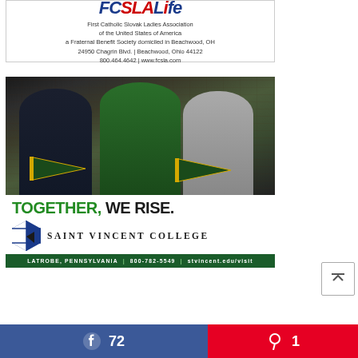[Figure (other): FCSLA Life advertisement — First Catholic Slovak Ladies Association of the United States of America, a Fraternal Benefit Society domiciled in Beachwood, OH. 24950 Chagrin Blvd. | Beachwood, Ohio 44122. 800.464.4642 | www.fcsla.com]
[Figure (photo): Saint Vincent College advertisement. Photo of three people (two students and a priest in green shirt) holding green and gold Saint Vincent College pennants inside a building. Text reads: TOGETHER, WE RISE. SAINT VINCENT COLLEGE. LATROBE, PENNSYLVANIA | 800-782-5549 | stvincent.edu/visit]
[Figure (other): Social share buttons: Facebook with count 72, Pinterest with count 1]